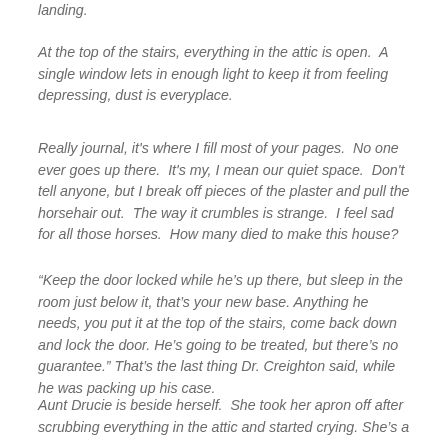landing.
At the top of the stairs, everything in the attic is open.  A single window lets in enough light to keep it from feeling depressing, dust is everyplace.
Really journal, it's where I fill most of your pages.  No one ever goes up there.  It's my, I mean our quiet space.  Don't tell anyone, but I break off pieces of the plaster and pull the horsehair out.  The way it crumbles is strange.  I feel sad for all those horses.  How many died to make this house?
“Keep the door locked while he’s up there, but sleep in the room just below it, that’s your new base. Anything he needs, you put it at the top of the stairs, come back down and lock the door. He’s going to be treated, but there’s no guarantee.” That’s the last thing Dr. Creighton said, while he was packing up his case.
Aunt Drucie is beside herself.  She took her apron off after scrubbing everything in the attic and started crying. She’s a